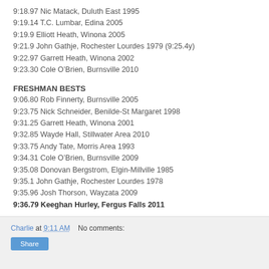9:18.97 Nic Matack, Duluth East 1995
9:19.14 T.C. Lumbar, Edina 2005
9:19.9 Elliott Heath, Winona 2005
9:21.9 John Gathje, Rochester Lourdes 1979 (9:25.4y)
9:22.97 Garrett Heath, Winona 2002
9:23.30 Cole O'Brien, Burnsville 2010
FRESHMAN BESTS
9:06.80 Rob Finnerty, Burnsville 2005
9:23.75 Nick Schneider, Benilde-St Margaret 1998
9:31.25 Garrett Heath, Winona 2001
9:32.85 Wayde Hall, Stillwater Area 2010
9:33.75 Andy Tate, Morris Area 1993
9:34.31 Cole O'Brien, Burnsville 2009
9:35.08 Donovan Bergstrom, Elgin-Millville 1985
9:35.1 John Gathje, Rochester Lourdes 1978
9:35.96 Josh Thorson, Wayzata 2009
9:36.79 Keeghan Hurley, Fergus Falls 2011
Charlie at 9:11 AM   No comments:   Share